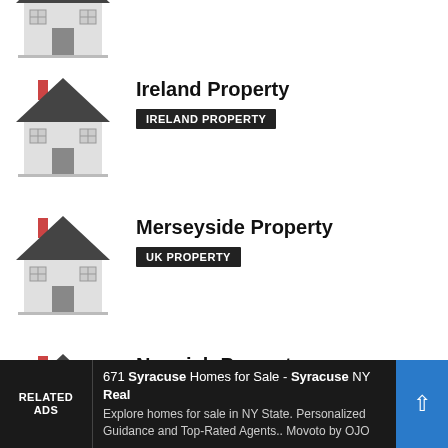[Figure (illustration): Partially cropped house illustration at the top of the page]
Ireland Property
IRELAND PROPERTY
[Figure (illustration): House illustration for Ireland Property listing]
Merseyside Property
UK PROPERTY
[Figure (illustration): House illustration for Merseyside Property listing]
Norwich Property
UK PROPERTY
[Figure (illustration): House illustration for Norwich Property listing (partially cropped)]
RELATED ADS
671 Syracuse Homes for Sale - Syracuse NY Real
Explore homes for sale in NY State. Personalized Guidance and Top-Rated Agents.. Movoto by OJO